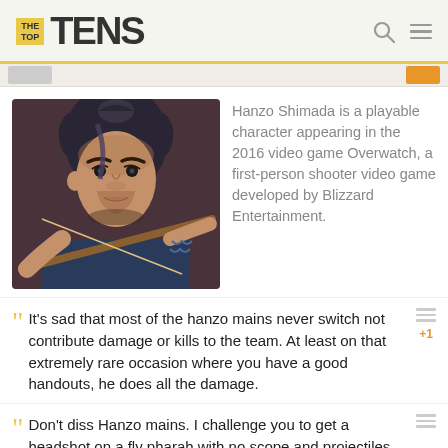THE TOP TENS
[Figure (illustration): Hanzo Shimada character illustration from Overwatch, showing a man with dark hair in a bun drawing a bow, wearing a blue outfit with tattoos]
Hanzo Shimada is a playable character appearing in the 2016 video game Overwatch, a first-person shooter video game developed by Blizzard Entertainment.
It's sad that most of the hanzo mains never switch not contribute damage or kills to the team. At least on that extremely rare occasion where you have a good handouts, he does all the damage.
Don't diss Hanzo mains. I challenge you to get a headshot on a fly pharah with no scope and projectiles that have travel time and fly in an arc. Although